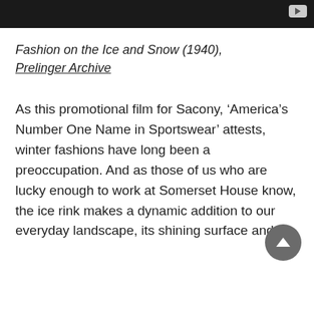[Figure (screenshot): Dark video player bar with play button in top right corner]
Fashion on the Ice and Snow (1940), Prelinger Archive
As this promotional film for Sacony, ‘America’s Number One Name in Sportswear’ attests, winter fashions have long been a preoccupation. And as those of us who are lucky enough to work at Somerset House know, the ice rink makes a dynamic addition to our everyday landscape, its shining surface and the